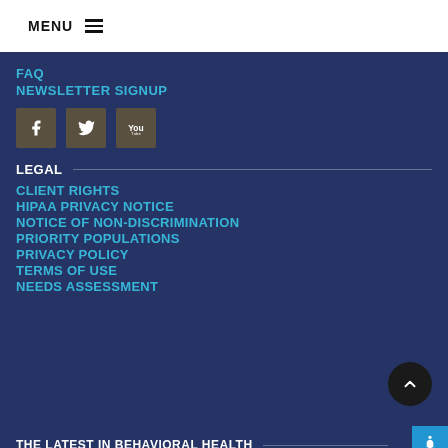MENU
FAQ
NEWSLETTER SIGNUP
[Figure (infographic): Social media icons: Facebook, Twitter, YouTube]
LEGAL
CLIENT RIGHTS
HIPAA PRIVACY NOTICE
NOTICE OF NON-DISCRIMINATION
PRIORITY POPULATIONS
PRIVACY POLICY
TERMS OF USE
NEEDS ASSESSMENT
THE LATEST IN BEHAVIORAL HEALTH